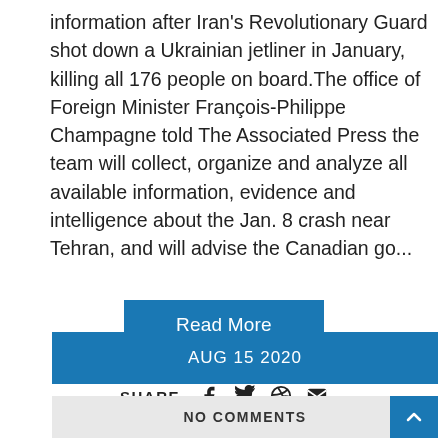information after Iran's Revolutionary Guard shot down a Ukrainian jetliner in January, killing all 176 people on board.The office of Foreign Minister François-Philippe Champagne told The Associated Press the team will collect, organize and analyze all available information, evidence and intelligence about the Jan. 8 crash near Tehran, and will advise the Canadian go...
Read More
SHARE
AUG 15 2020
NO COMMENTS